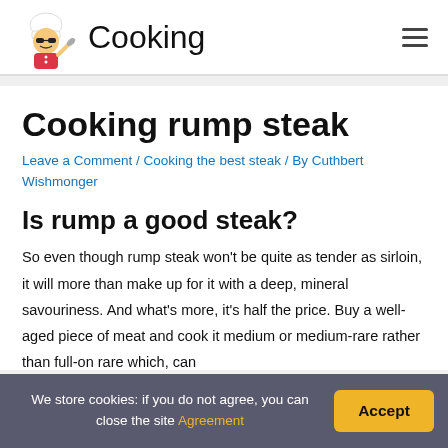Cooking
Cooking rump steak
Leave a Comment / Cooking the best steak / By Cuthbert Wishmonger
Is rump a good steak?
So even though rump steak won't be quite as tender as sirloin, it will more than make up for it with a deep, mineral savouriness. And what's more, it's half the price. Buy a well-aged piece of meat and cook it medium or medium-rare rather than full-on rare which, can
We store cookies: if you do not agree, you can close the site Agreement